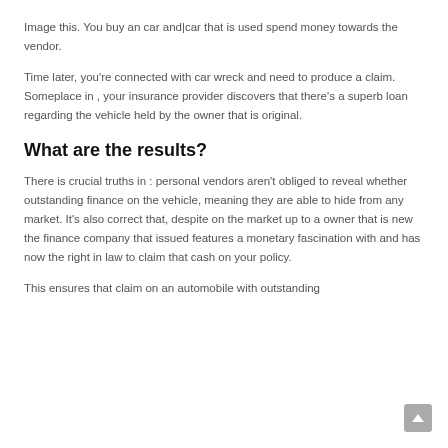Image this. You buy an car and|car that is used spend money towards the vendor.
Time later, you’re connected with car wreck and need to produce a claim. Someplace in , your insurance provider discovers that there’s a superb loan regarding the vehicle held by the owner that is original.
What are the results?
There is crucial truths in : personal vendors aren’t obliged to reveal whether outstanding finance on the vehicle, meaning they are able to hide from any market. It’s also correct that, despite on the market up to a owner that is new the finance company that issued features a monetary fascination with and has now the right in law to claim that cash on your policy.
This ensures that claim on an automobile with outstanding